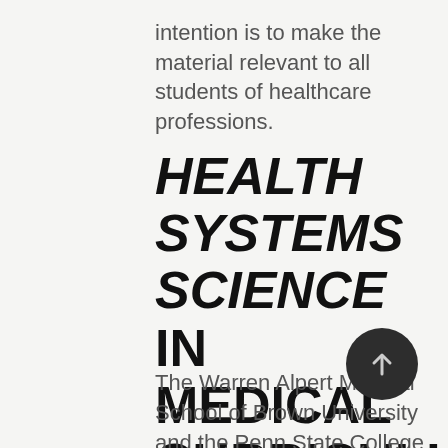intention is to make the material relevant to all students of healthcare professions.
HEALTH SYSTEMS SCIENCE IN MEDICAL CURRICULUMS
The Warren Alpert Medical School of Brown University and the Penn State College of Medicine are two schools that are